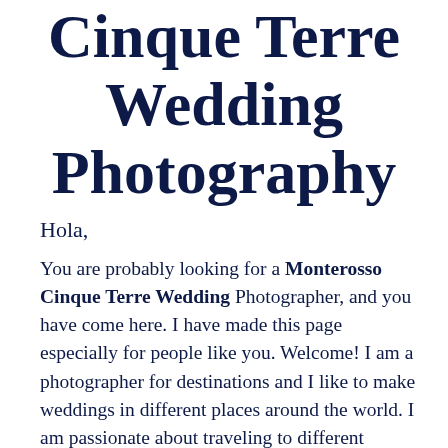Cinque Terre Wedding Photography
Hola,
You are probably looking for a Monterosso Cinque Terre Wedding Photographer, and you have come here. I have made this page especially for people like you. Welcome! I am a photographer for destinations and I like to make weddings in different places around the world. I am passionate about traveling to different destination wedding locations and I love exploring places we have